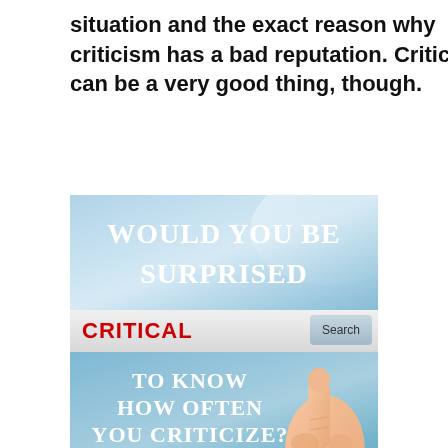situation and the exact reason why criticism has a bad reputation. Criticism can be a very good thing, though.
[Figure (infographic): Composite image with blue gradient background. Top half shows text 'WOULD YOU BE SURPRISED' in large white serif font. Middle band shows a search bar with 'CRITICAL' in red bold text on the left and a 'Search' button on the right. Bottom half shows 'TO KNOW HOW OFTEN YOU CRITICIZE?' in white serif font over a blue background with a pointing hand/finger emerging from the bottom right.]